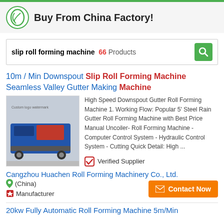Buy From China Factory!
slip roll forming machine  66  Products
10m / Min Downspout Slip Roll Forming Machine Seamless Valley Gutter Making Machine
[Figure (photo): Industrial roll forming machine, blue and red machinery in a factory setting]
High Speed Downspout Gutter Roll Forming Machine 1. Working Flow: Popular 5' Steel Rain Gutter Roll Forming Machine with Best Price Manual Uncoiler- Roll Forming Machine - Computer Control System - Hydraulic Control System - Cutting Quick Detail: High ...
✅ Verified Supplier
Cangzhou Huachen Roll Forming Machinery Co., Ltd.
(China)
Manufacturer
Contact Now
20kw Fully Automatic Roll Forming Machine 5m/Min